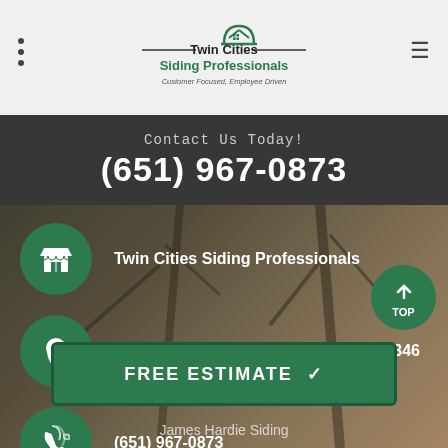[Figure (logo): Twin Cities Siding Professionals logo with house icon and tagline 'Customer Focused, Employee Driven']
Contact Us Today!
(651) 967-0873
Twin Cities Siding Professionals
6500 Carlson Dr, Eden Prairie, MN 55346
(651) 967-0873
FREE ESTIMATE
James Hardie Siding